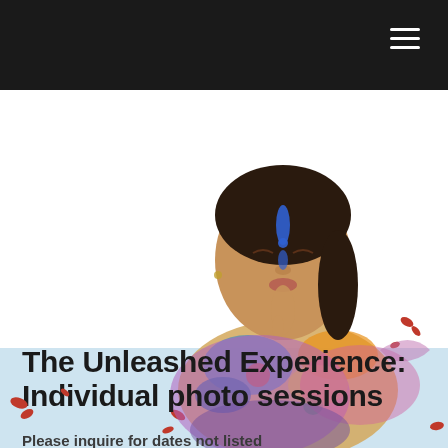[Figure (photo): Woman with colorful paint splattered on her face and body, eyes closed, finger touching chin, with paint splash decorations in purple and pink]
The Unleashed Experience: Individual photo sessions
Please inquire for dates not listed